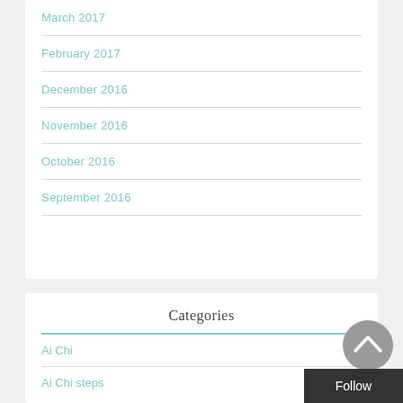March 2017
February 2017
December 2016
November 2016
October 2016
September 2016
Categories
Ai Chi
Ai Chi steps